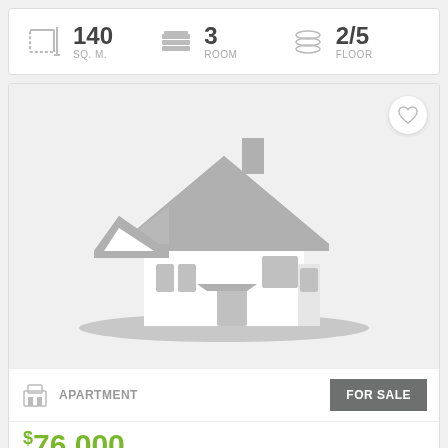140 SQ. M.   3 ROOM   2/5 FLOOR
[Figure (illustration): Placeholder house illustration in gray on light gray background, with a heart/favorite icon button in top right corner]
APARTMENT   FOR SALE
$76,000